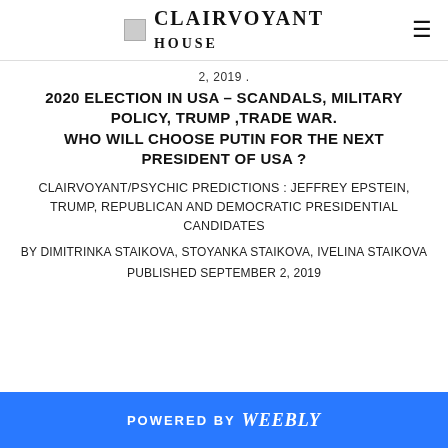CLAIRVOYANT HOUSE
2, 2019 .
2020 ELECTION IN USA – SCANDALS, MILITARY POLICY, TRUMP ,TRADE WAR. WHO WILL CHOOSE PUTIN FOR THE NEXT PRESIDENT OF USA ?
CLAIRVOYANT/PSYCHIC PREDICTIONS : JEFFREY EPSTEIN, TRUMP, REPUBLICAN AND DEMOCRATIC PRESIDENTIAL CANDIDATES
BY DIMITRINKA STAIKOVA, STOYANKA STAIKOVA, IVELINA STAIKOVA
PUBLISHED SEPTEMBER 2, 2019
POWERED BY weebly